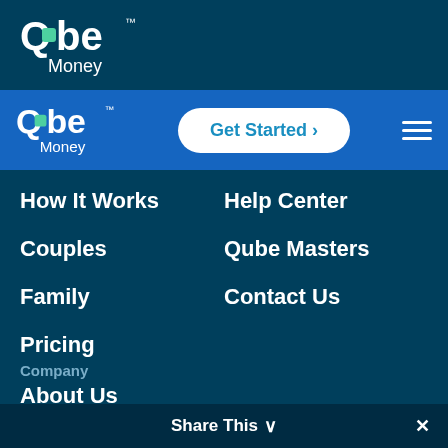[Figure (logo): Qube Money logo in top dark blue bar]
Qube Money navigation bar with Get Started button and hamburger menu
How It Works
Help Center
Couples
Qube Masters
Family
Contact Us
Pricing
Company
About Us
Affiliates
Share This ∨